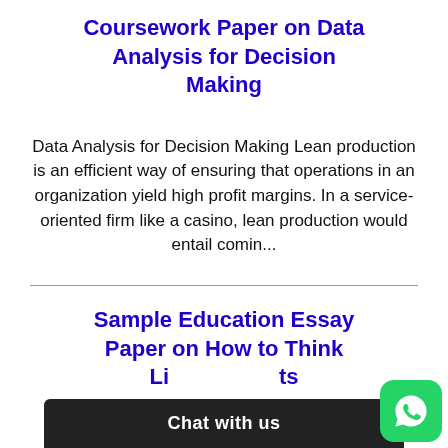Coursework Paper on Data Analysis for Decision Making
Data Analysis for Decision Making Lean production is an efficient way of ensuring that operations in an organization yield high profit margins. In a service-oriented firm like a casino, lean production would entail comin...
Sample Education Essay Paper on How to Think Li...ts